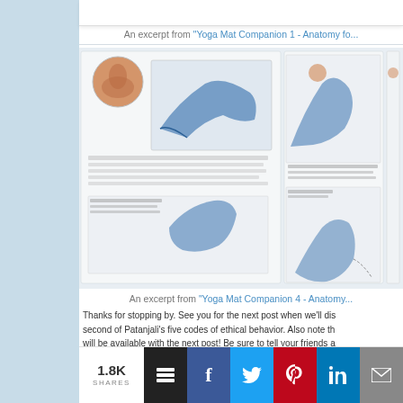[Figure (screenshot): Top portion of a book spread showing yoga anatomy illustrations from Yoga Mat Companion 1]
An excerpt from "Yoga Mat Companion 1 - Anatomy fo...
[Figure (screenshot): Book spread pages showing yoga anatomy illustrations from Yoga Mat Companion 4, with skeletal and muscular diagrams of yoga poses]
An excerpt from "Yoga Mat Companion 4 - Anatomy...
Thanks for stopping by. See you for the next post when we'll dis second of Patanjali's five codes of ethical behavior. Also note th will be available with the next post! Be sure to tell your friends a
1.8K SHARES